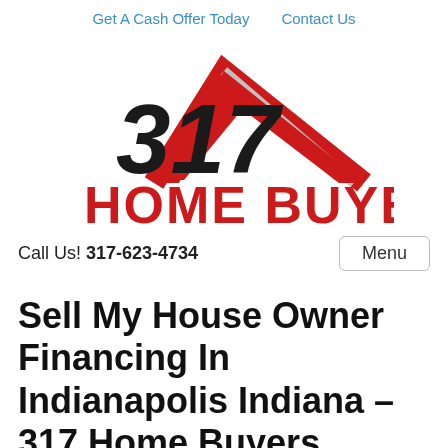Get A Cash Offer Today   Contact Us
[Figure (logo): 317 Home Buyers logo with house roof graphic and bold red HOME BUYERS text]
Call Us! 317-623-4734   Menu
Sell My House Owner Financing In Indianapolis Indiana – 317 Home Buyers